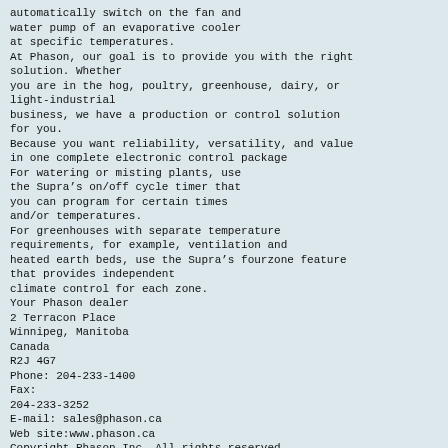automatically switch on the fan and
water pump of an evaporative cooler
at specific temperatures.
At Phason, our goal is to provide you with the right
solution. Whether
you are in the hog, poultry, greenhouse, dairy, or
light-industrial
business, we have a production or control solution
for you.
Because you want reliability, versatility, and value
in one complete electronic control package
For watering or misting plants, use
the Supra's on/off cycle timer that
you can program for certain times
and/or temperatures.
For greenhouses with separate temperature
requirements, for example, ventilation and
heated earth beds, use the Supra's fourzone feature
that provides independent
climate control for each zone.
Your Phason dealer
2 Terracon Place
Winnipeg, Manitoba
Canada
R2J 4G7
Phone: 204-233-1400
Fax:
204-233-3252
E-mail: sales@phason.ca
Web site:www.phason.ca
Copyright Phason Inc. All rights reserved
Printed in Canada
Formatted in accordance with EFF standards